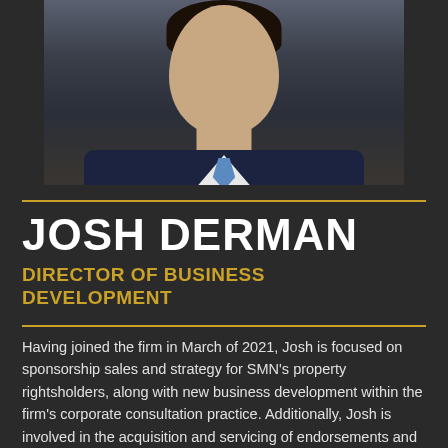[Figure (photo): Professional headshot of Josh Derman, a man in a dark navy suit with a blue tie and white shirt, photographed from chest up against a neutral background.]
JOSH DERMAN
DIRECTOR OF BUSINESS DEVELOPMENT
Having joined the firm in March of 2021, Josh is focused on sponsorship sales and strategy for SMN's property rightsholders, along with new business development within the firm's corporate consultation practice. Additionally, Josh is involved in the acquisition and servicing of endorsements and personal service agreements for SMN's individual clients.